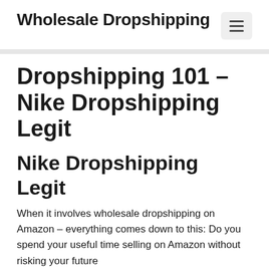Wholesale Dropshipping
Dropshipping 101 – Nike Dropshipping Legit
Nike Dropshipping Legit
When it involves wholesale dropshipping on Amazon – everything comes down to this: Do you spend your useful time selling on Amazon without risking your future